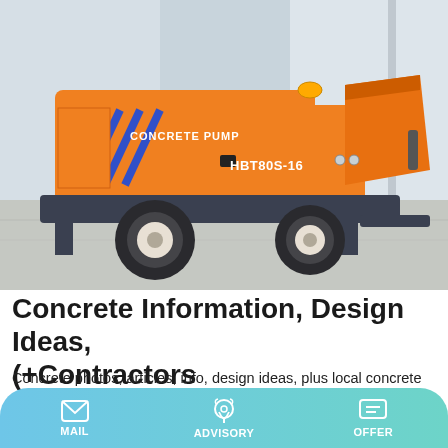[Figure (photo): Orange concrete pump truck (HBT80S-16) with blue chevron stripes, parked on concrete ground near a building. The machine has a large hopper at the rear and wheels, with 'CONCRETE PUMP' and 'HBT80S-16' text on its body.]
Concrete Information, Design Ideas, (+Contractors
Concrete photos, articles, info, design ideas, plus local concrete contractors for colored, stamped and textured concrete patios, driveways, pool decks, interior stained floors, concrete countertops and many more decorative concrete
MAIL   ADVISORY   OFFER